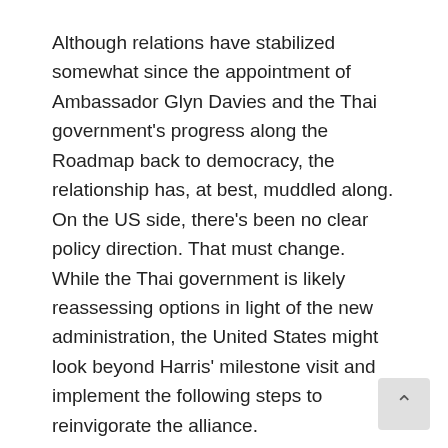Although relations have stabilized somewhat since the appointment of Ambassador Glyn Davies and the Thai government's progress along the Roadmap back to democracy, the relationship has, at best, muddled along. On the US side, there's been no clear policy direction. That must change. While the Thai government is likely reassessing options in light of the new administration, the United States might look beyond Harris' milestone visit and implement the following steps to reinvigorate the alliance.
1. The US must commit to presidential attendance at the royal cremation ceremony for King Bhumibol Adulyadej, the architect of the modern US-Thai relationship. The Trump administration must show understanding of the Thai people's reverence for departed monarch – and show it at the presidential